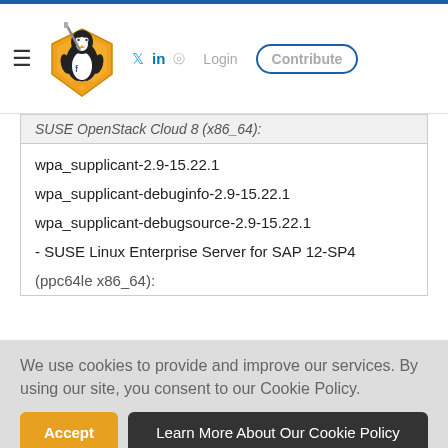[Figure (logo): Linux security website header with penguin holding shield logo, hamburger menu, social icons (Twitter, LinkedIn, RSS), Login link, and Contribute button]
SUSE OpenStack Cloud 8 (x86_64):
wpa_supplicant-2.9-15.22.1
wpa_supplicant-debuginfo-2.9-15.22.1
wpa_supplicant-debugsource-2.9-15.22.1
- SUSE Linux Enterprise Server for SAP 12-SP4
(ppc64le x86_64):
We use cookies to provide and improve our services. By using our site, you consent to our Cookie Policy.
- SUSE Linux Enterprise Server for SAP 12-SP3
(ppc64le x86_64):
wpa_supplicant-2.9-15.22.1
wpa_supplicant-debuginfo-2.9-15.22.1